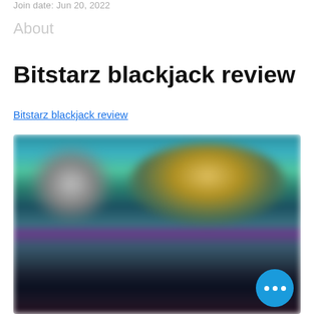Join date: Jun 20, 2022
About
Bitstarz blackjack review
Bitstarz blackjack review
[Figure (photo): Blurred screenshot of a gaming website, likely showing casino game thumbnails with colorful characters and game interfaces. A teal and blue background with various game card thumbnails visible. A floating action button with three dots appears in the bottom right corner.]